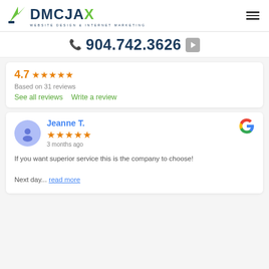[Figure (logo): DMCJAX Website Design & Internet Marketing logo with green arrow and green X]
904.742.3626
4.7 ★★★★★ Based on 31 reviews
See all reviews   Write a review
Jeanne T. ★★★★★ 3 months ago
If you want superior service this is the company to choose!

Next day... read more